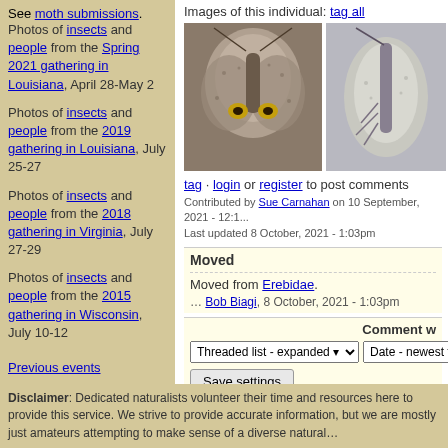See moth submissions.
Photos of insects and people from the Spring 2021 gathering in Louisiana, April 28-May 2
Photos of insects and people from the 2019 gathering in Louisiana, July 25-27
Photos of insects and people from the 2018 gathering in Virginia, July 27-29
Photos of insects and people from the 2015 gathering in Wisconsin, July 10-12
Previous events
Images of this individual: tag all
[Figure (photo): Front-facing moth photo]
[Figure (photo): Side-facing moth photo]
tag · login or register to post comments
Contributed by Sue Carnahan on 10 September, 2021 - 12:1...
Last updated 8 October, 2021 - 1:03pm
Moved
Moved from Erebidae.
... Bob Biagi, 8 October, 2021 - 1:03pm
Comment w
Select your preferred way to display the comments and cli...
Disclaimer: Dedicated naturalists volunteer their time and resources here to provide this service. We strive to provide accurate information, but we are mostly just amateurs attempting to make sense of a diverse natural...